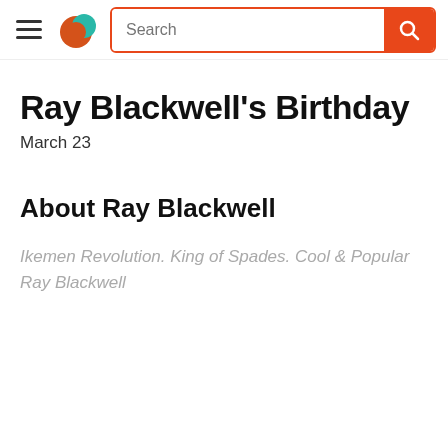Search
Ray Blackwell's Birthday
March 23
About Ray Blackwell
Ikemen Revolution. King of Spades. Cool & Popular Ray Blackwell